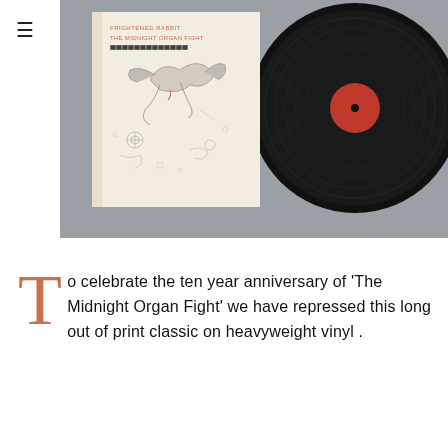[Figure (photo): Album cover of 'The Midnight Organ Fight' by Frightened Rabbit showing illustrated artwork with line drawing of animals/figures on cream background, alongside a black vinyl record, displayed on a grey background.]
To celebrate the ten year anniversary of 'The Midnight Organ Fight' we have repressed this long out of print classic on heavyweight vinyl .